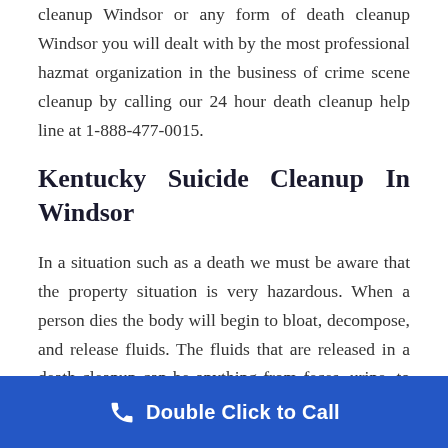cleanup Windsor or any form of death cleanup Windsor you will dealt with by the most professional hazmat organization in the business of crime scene cleanup by calling our 24 hour death cleanup help line at 1-888-477-0015.
Kentucky Suicide Cleanup In Windsor
In a situation such as a death we must be aware that the property situation is very hazardous. When a person dies the body will begin to bloat, decompose, and release fluids. The fluids that are released in a death cleanup can be anything from feces, urine, to blood and decomposed fluids from the body. The biohazard can be quite
Double Click to Call